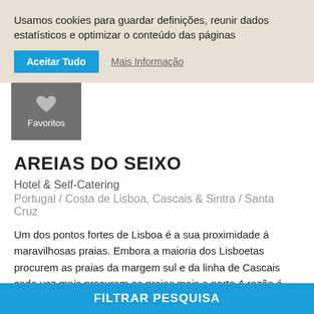Usamos cookies para guardar definições, reunir dados estatísticos e optimizar o conteúdo das páginas
Aceitar Tudo
Mais Informação
[Figure (other): Favorites icon box with heart icon, gray background, labeled Favoritos]
AREIAS DO SEIXO
Hotel & Self-Catering
Portugal / Costa de Lisboa, Cascais & Sintra / Santa Cruz
Um dos pontos fortes de Lisboa é a sua proximidade á maravilhosas praias. Embora a maioria dos Lisboetas procurem as praias da margem sul e da linha de Cascais cada vez mais procuram as praias mais a norte.A razão é que as praias são incríveis, há...
Á beira-mar  |  14 quartos  |  a partir de 315 EUR
FILTRAR PESQUISA